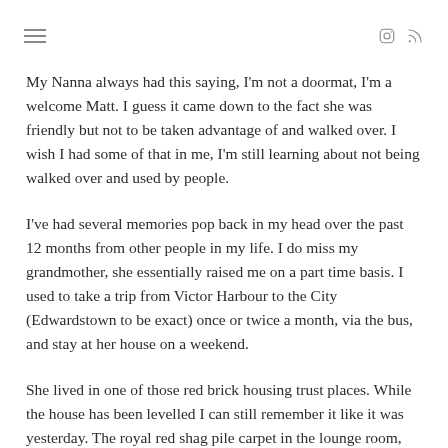≡  [instagram icon] [rss icon]
My Nanna always had this saying, I'm not a doormat, I'm a welcome Matt. I guess it came down to the fact she was friendly but not to be taken advantage of and walked over. I wish I had some of that in me, I'm still learning about not being walked over and used by people.
I've had several memories pop back in my head over the past 12 months from other people in my life. I do miss my grandmother, she essentially raised me on a part time basis. I used to take a trip from Victor Harbour to the City (Edwardstown to be exact) once or twice a month, via the bus, and stay at her house on a weekend.
She lived in one of those red brick housing trust places. While the house has been levelled I can still remember it like it was yesterday. The royal red shag pile carpet in the lounge room, the